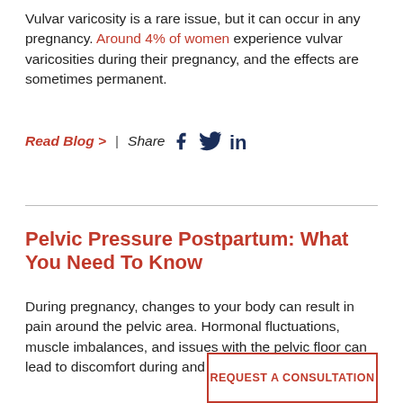Vulvar varicosity is a rare issue, but it can occur in any pregnancy. Around 4% of women experience vulvar varicosities during their pregnancy, and the effects are sometimes permanent.
Read Blog >  |  Share
Pelvic Pressure Postpartum: What You Need To Know
During pregnancy, changes to your body can result in pain around the pelvic area. Hormonal fluctuations, muscle imbalances, and issues with the pelvic floor can lead to discomfort during and after childbirth.
REQUEST A CONSULTATION